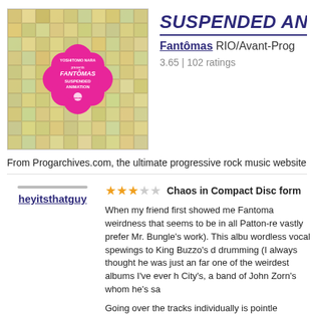[Figure (illustration): Album cover for Fantomas - Suspended Animation, featuring a pink flower-shaped logo with Fantomas text on a mosaic background of illustrated cartoon faces in muted yellows and greens]
SUSPENDED ANIM
Fantômas RIO/Avant-Prog
3.65 | 102 ratings
From Progarchives.com, the ultimate progressive rock music website
heyitsthatguy
Chaos in Compact Disc form
When my friend first showed me Fantoma weirdness that seems to be in all Patton-re vastly prefer Mr. Bungle's work). This albu wordless vocal spewings to King Buzzo's d drumming (I always thought he was just an far one of the weirdest albums I've ever h City's, a band of John Zorn's whom he's sa
Going over the tracks individually is pointle